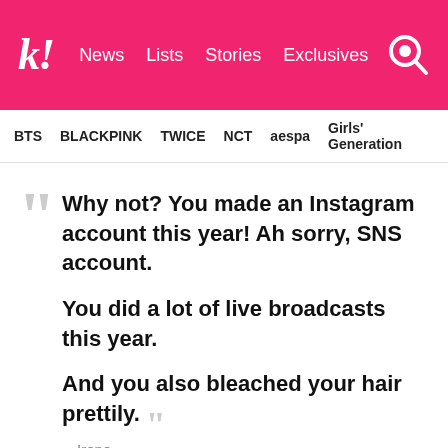k! News Lists Stories Exclusives
BTS   BLACKPINK   TWICE   NCT   aespa   Girls' Generation
Why not? You made an Instagram account this year! Ah sorry, SNS account.

You did a lot of live broadcasts this year.

And you also bleached your hair prettily.
—Irene